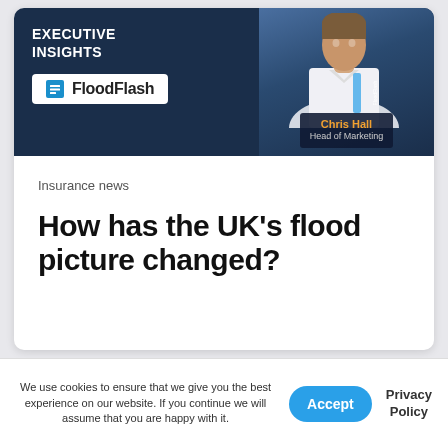[Figure (photo): Executive Insights banner with FloodFlash logo and a photo of Chris Hall, Head of Marketing, on a dark navy background]
Insurance news
How has the UK's flood picture changed?
We use cookies to ensure that we give you the best experience on our website. If you continue we will assume that you are happy with it.